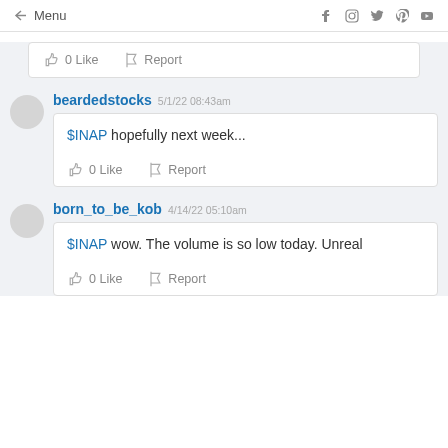← Menu  [social icons: Facebook, Instagram, Twitter, Pinterest, YouTube]
0 Like   Report
beardedstocks 5/1/22 08:43am — $INAP hopefully next week...  0 Like   Report
born_to_be_kob 4/14/22 05:10am — $INAP wow. The volume is so low today. Unreal  0 Like   Report